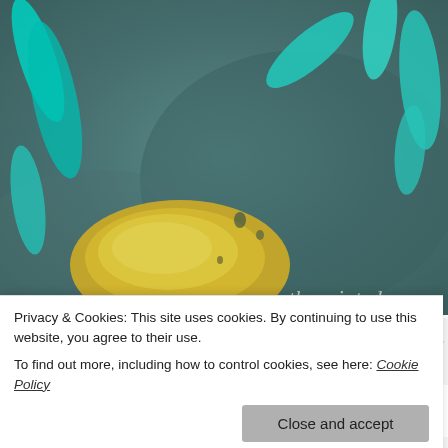[Figure (photo): Close-up photo of an abstract painting with teal/turquoise and yellow paint brushstrokes on a dark grey-green background. A watermark reading 'thepaintedapron.' is visible in the lower right of the image.]
Privacy & Cookies: This site uses cookies. By continuing to use this website, you agree to their use.
To find out more, including how to control cookies, see here: Cookie Policy
Close and accept
returning what I don't need or like, which is good.
that I feel like I have EXTRA